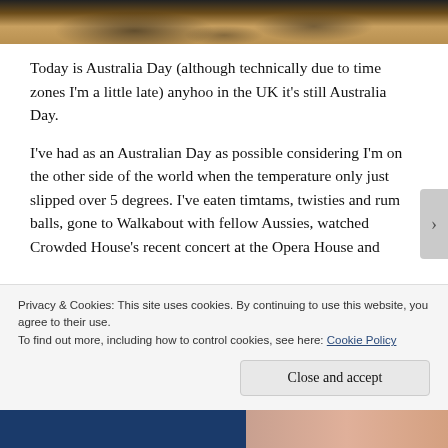[Figure (photo): Top portion of a photograph showing a sunlit outdoor ground scene with shadows, sandy/earthy tones]
Today is Australia Day (although technically due to time zones I'm a little late) anyhoo in the UK it's still Australia Day.
I've had as an Australian Day as possible considering I'm on the other side of the world when the temperature only just slipped over 5 degrees. I've eaten timtams, twisties and rum balls, gone to Walkabout with fellow Aussies, watched Crowded House's recent concert at the Opera House and
Privacy & Cookies: This site uses cookies. By continuing to use this website, you agree to their use.
To find out more, including how to control cookies, see here: Cookie Policy
Close and accept